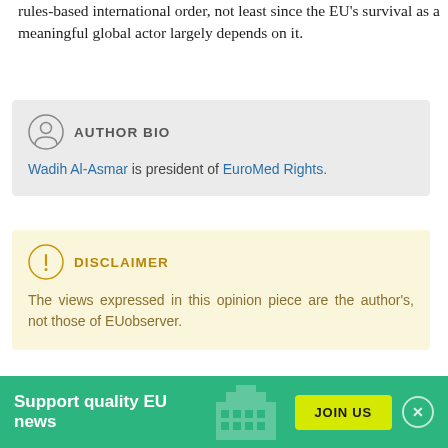rules-based international order, not least since the EU's survival as a meaningful global actor largely depends on it.
AUTHOR BIO
Wadih Al-Asmar is president of EuroMed Rights.
DISCLAIMER
The views expressed in this opinion piece are the author's, not those of EUobserver.
SHARE ARTICLE
Support quality EU news  JOIN US